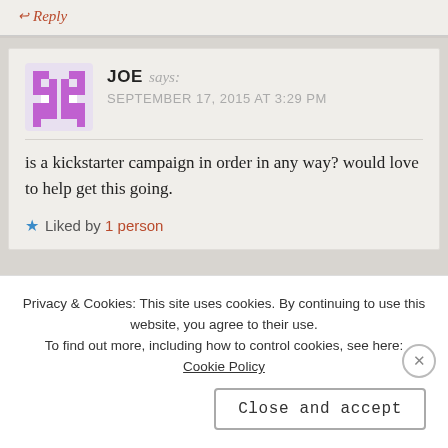↩ Reply
JOE says: SEPTEMBER 17, 2015 AT 3:29 PM
is a kickstarter campaign in order in any way? would love to help get this going.
★ Liked by 1 person
Privacy & Cookies: This site uses cookies. By continuing to use this website, you agree to their use. To find out more, including how to control cookies, see here: Cookie Policy
Close and accept